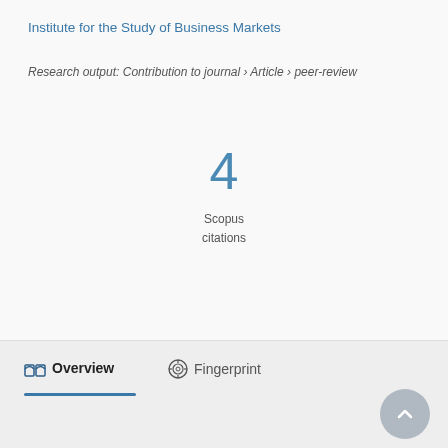Institute for the Study of Business Markets
Research output: Contribution to journal › Article › peer-review
4
Scopus citations
Overview
Fingerprint